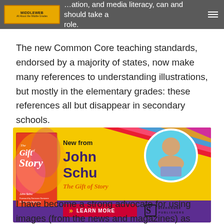…ation, and media literacy, can and should take a role.
The new Common Core teaching standards, endorsed by a majority of states, now make many references to understanding illustrations, but mostly in the elementary grades: these references all but disappear in secondary schools.
[Figure (illustration): Advertisement for 'The Gift of Story' by John Schu, published by Stenhouse Publishers. Features book cover image, author photo, 'New from John Schu' text, book title in italic orange, and a red 'LEARN MORE' button with yellow arrows.]
I have become a strong advocate for using images (from the news and magazines) as jumping off points to both engage our